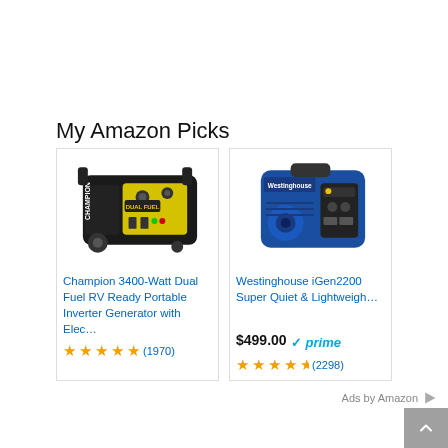My Amazon Picks
[Figure (photo): Champion 3400-Watt Dual Fuel portable inverter generator, black with yellow control panel]
Champion 3400-Watt Dual Fuel RV Ready Portable Inverter Generator with Elec…
★★★★★ (1970)
[Figure (photo): Westinghouse iGen2200 portable inverter generator, blue color]
Westinghouse iGen2200 Super Quiet & Lightweigh…
$499.00 ✓prime
★★★★½ (2298)
Ads by Amazon ▷